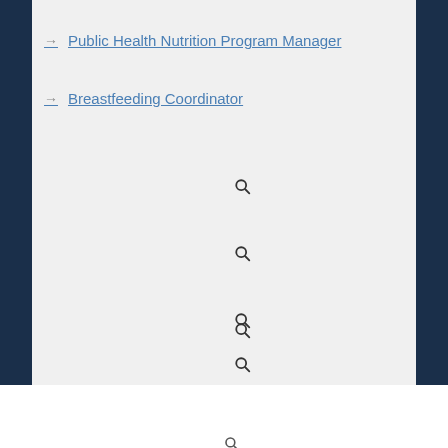Public Health Nutrition Program Manager
Breastfeeding Coordinator